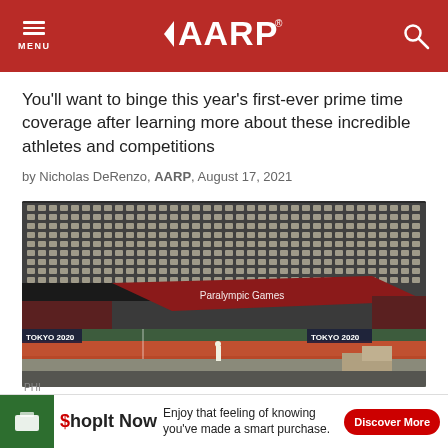AARP
You'll want to binge this year's first-ever prime time coverage after learning more about these incredible athletes and competitions
by Nicholas DeRenzo, AARP, August 17, 2021
[Figure (photo): Empty stadium with Paralympic Games banner draped from the stands; Tokyo 2020 signage visible on track; lone figure standing on the field]
ShopIt Now  Enjoy that feeling of knowing you've made a smart purchase.  Discover More